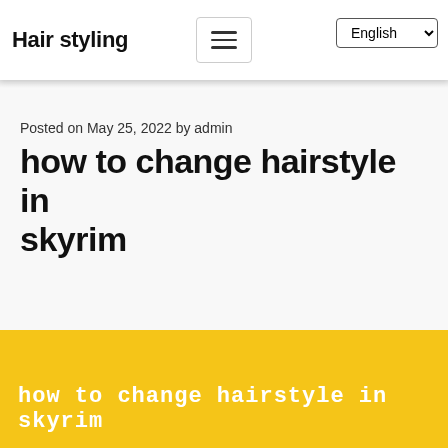Hair styling
Posted on May 25, 2022 by admin
how to change hairstyle in skyrim
[Figure (illustration): Yellow banner image with white monospace text reading 'how to change hairstyle in skyrim']